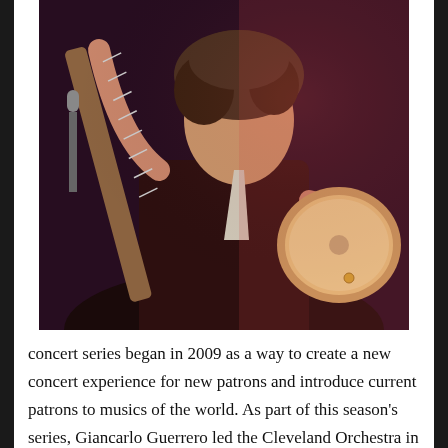[Figure (photo): A person with curly hair wearing a dark brown shirt and light tie, playing a banjo on a dark stage with a microphone visible on the left.]
concert series began in 2009 as a way to create a new concert experience for new patrons and introduce current patrons to musics of the world. As part of this season's series, Giancarlo Guerrero led the Cleveland Orchestra in an exhilarating exhibition of American music for a nearly sold-out Severance Hall on Friday, December 7.
Fridays@7 is really three concert experiences in one. The 6:00 pm pre-concert in the Reinberger Chamber Hall featured folk music from Eastern